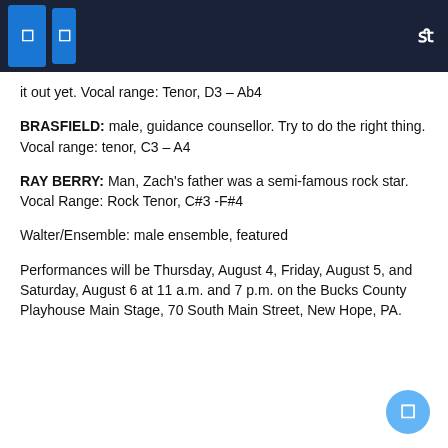it out yet. Vocal range: Tenor, D3 – Ab4
BRASFIELD: male, guidance counsellor. Try to do the right thing. Vocal range: tenor, C3 – A4
RAY BERRY: Man, Zach's father was a semi-famous rock star. Vocal Range: Rock Tenor, C#3 -F#4
Walter/Ensemble: male ensemble, featured
Performances will be Thursday, August 4, Friday, August 5, and Saturday, August 6 at 11 a.m. and 7 p.m. on the Bucks County Playhouse Main Stage, 70 South Main Street, New Hope, PA.